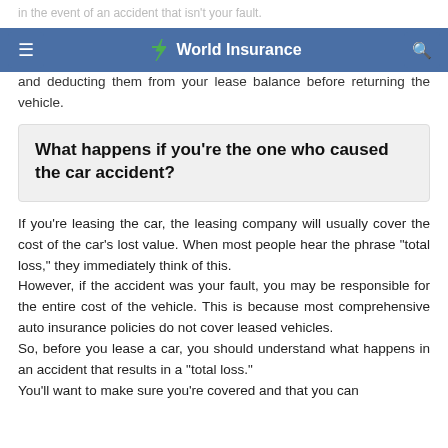in the event of an accident that isn't your fault.
World Insurance
They expect their vehicles to be returned undamaged! If this occurs, you will be responsible for paying for repairs and deducting them from your lease balance before returning the vehicle.
What happens if you're the one who caused the car accident?
If you're leasing the car, the leasing company will usually cover the cost of the car's lost value. When most people hear the phrase "total loss," they immediately think of this.
However, if the accident was your fault, you may be responsible for the entire cost of the vehicle. This is because most comprehensive auto insurance policies do not cover leased vehicles.
So, before you lease a car, you should understand what happens in an accident that results in a "total loss."
You'll want to make sure you're covered and that you can